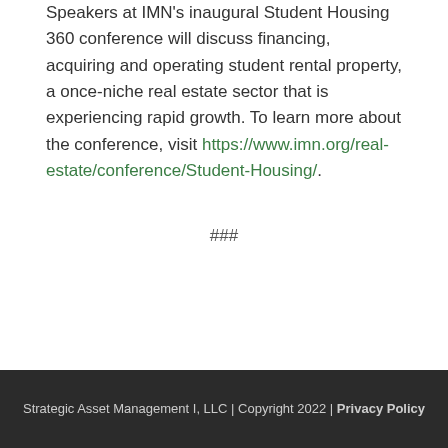Speakers at IMN's inaugural Student Housing 360 conference will discuss financing, acquiring and operating student rental property, a once-niche real estate sector that is experiencing rapid growth. To learn more about the conference, visit https://www.imn.org/real-estate/conference/Student-Housing/.
###
Strategic Asset Management I, LLC | Copyright 2022 | Privacy Policy